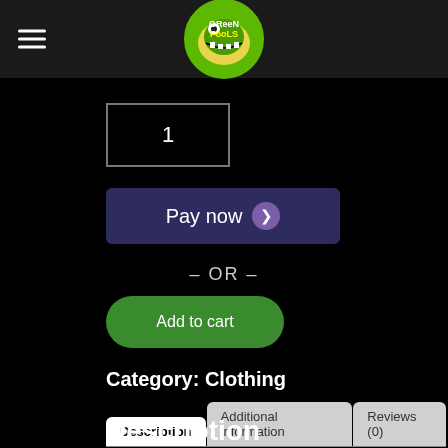Green Fools logo and navigation
1
Pay now
– OR –
Add to cart
Category: Clothing
Description | Additional information | Reviews (0)
Description